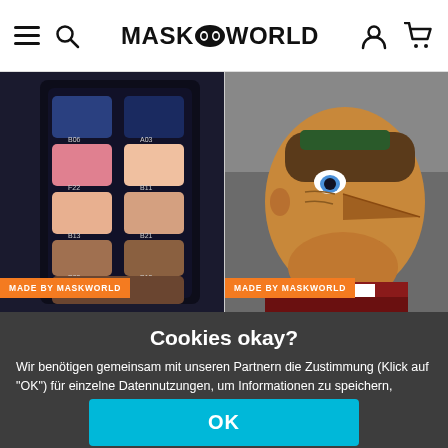MASKWORLD - navigation header with hamburger menu, search, logo, user and cart icons
[Figure (photo): Makeup color palette with dark case showing multiple rows of colored swatches including blues, pinks, and skin tones with product codes. Orange badge reading MADE BY MASKWORLD.]
[Figure (photo): Person wearing Pinocchio makeup with elongated nose prosthetic, smiling, wearing colorful costume. Orange badge reading MADE BY MASKWORLD.]
Cookies okay?
Wir benötigen gemeinsam mit unseren Partnern die Zustimmung (Klick auf "OK") für einzelne Datennutzungen, um Informationen zu speichern, abzurufen (z.B. Browser-Informationen, Nutzer-ID, IP-Adresse) und zu verarbeiten oder verarbeiten zu lassen. Die Datennutzung erfolgt für
OK